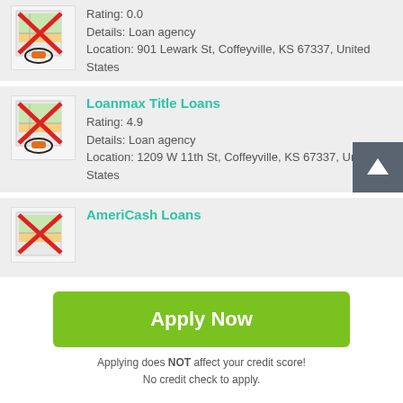Rating: 0.0
Details: Loan agency
Location: 901 Lewark St, Coffeyville, KS 67337, United States
Loanmax Title Loans
Rating: 4.9
Details: Loan agency
Location: 1209 W 11th St, Coffeyville, KS 67337, United States
AmeriCash Loans
Apply Now
Applying does NOT affect your credit score!
No credit check to apply.